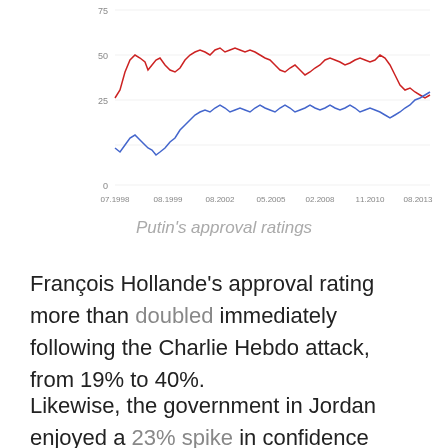[Figure (continuous-plot): Time series line chart showing Putin's approval ratings over time (07.1998 to 08.2013), with two lines: a red line (higher, ranging roughly 25–80%) and a blue line (lower, ranging roughly 0–55%). The lines fluctuate and sometimes intersect.]
Putin's approval ratings
François Hollande's approval rating more than doubled immediately following the Charlie Hebdo attack, from 19% to 40%.
Likewise, the government in Jordan enjoyed a 23% spike in confidence after